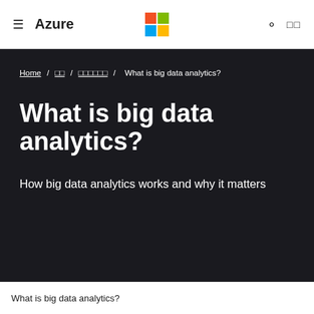≡ Azure | Microsoft logo | 🔍 □□
Home / □□ / □□□□□□ / What is big data analytics?
What is big data analytics?
How big data analytics works and why it matters
What is big data analytics?